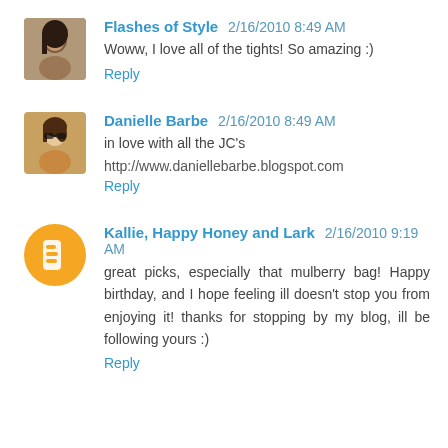Flashes of Style 2/16/2010 8:49 AM
Woww, I love all of the tights! So amazing :)
Reply
Danielle Barbe 2/16/2010 8:49 AM
in love with all the JC's
http://www.daniellebarbe.blogspot.com
Reply
Kallie, Happy Honey and Lark 2/16/2010 9:19 AM
great picks, especially that mulberry bag! Happy birthday, and I hope feeling ill doesn't stop you from enjoying it! thanks for stopping by my blog, ill be following yours :)
Reply